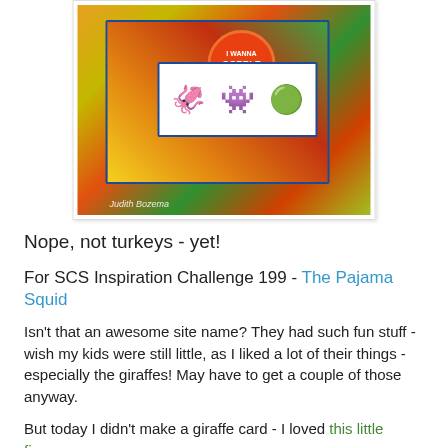[Figure (photo): A handmade greeting card featuring three cartoon monster characters on a white panel, with colorful patterned paper background. An orange scalloped circle badge reads 'I WANNA GOBBLE YOU UP!' Text watermark 'Judith Bozema' at bottom left.]
Nope, not turkeys - yet!
For SCS Inspiration Challenge 199 - The Pajama Squid
Isn't that an awesome site name? They had such fun stuff - wish my kids were still little, as I liked a lot of their things - especially the giraffes! May have to get a couple of those anyway.
But today I didn't make a giraffe card - I loved this little finger